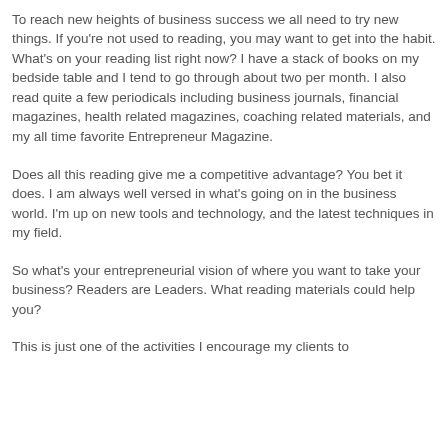they've always done them, nothing would change. So why hire me?
To reach new heights of business success we all need to try new things. If you're not used to reading, you may want to get into the habit. What's on your reading list right now? I have a stack of books on my bedside table and I tend to go through about two per month. I also read quite a few periodicals including business journals, financial magazines, health related magazines, coaching related materials, and my all time favorite Entrepreneur Magazine.
Does all this reading give me a competitive advantage? You bet it does. I am always well versed in what's going on in the business world. I'm up on new tools and technology, and the latest techniques in my field.
So what's your entrepreneurial vision of where you want to take your business? Readers are Leaders. What reading materials could help you?
This is just one of the activities I encourage my clients to